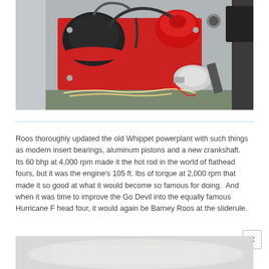[Figure (photo): Overhead view of a red vintage car engine (Jeep Go Devil / Whippet-derived flathead four) in an engine bay, showing air filter, carburetor, and various components.]
Roos thoroughly updated the old Whippet powerplant with such things as modern insert bearings, aluminum pistons and a new crankshaft.  Its 60 bhp at 4,000 rpm made it the hot rod in the world of flathead fours, but it was the engine's 105 ft. lbs of torque at 2,000 rpm that made it so good at what it would become so famous for doing.  And when it was time to improve the Go Devil into the equally famous Hurricane F head four, it would again be Barney Roos at the sliderule.
[Figure (photo): Partially visible light-colored vintage vehicle interior or exterior, very washed out / overexposed.]